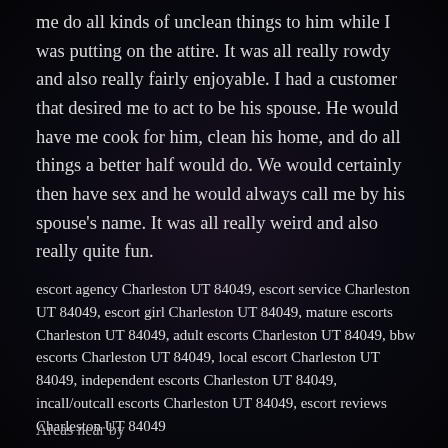me do all kinds of unclean things to him while I was putting on the attire. It was all really rowdy and also really fairly enjoyable. I had a customer that desired me to act to be his spouse. He would have me cook for him, clean his home, and do all things a better half would do. We would certainly then have sex and he would always call me by his spouse's name. It was all really weird and also really quite fun.
escort agency Charleston UT 84049, escort service Charleston UT 84049, escort girl Charleston UT 84049, mature escorts Charleston UT 84049, adult escorts Charleston UT 84049, bbw escorts Charleston UT 84049, local escort Charleston UT 84049, independent escorts Charleston UT 84049, incall/outcall escorts Charleston UT 84049, escort reviews Charleston UT 84049
Areas near by